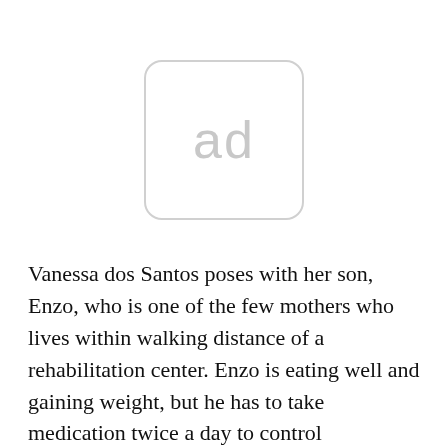[Figure (other): Ad placeholder image with rounded rectangle border containing the text 'ad' in light gray]
Vanessa dos Santos poses with her son, Enzo, who is one of the few mothers who lives within walking distance of a rehabilitation center. Enzo is eating well and gaining weight, but he has to take medication twice a day to control convulsions and still has difficulties with movement.